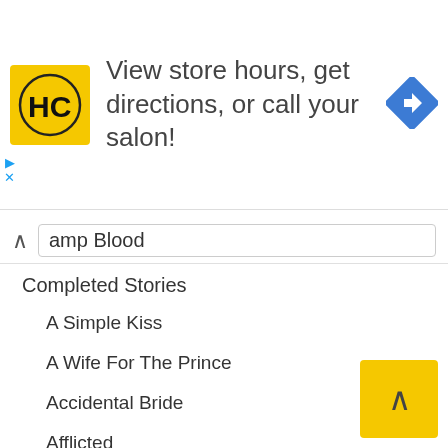[Figure (screenshot): Ad banner for HC (Hair Club) salon: yellow logo with HC monogram, text 'View store hours, get directions, or call your salon!', blue diamond navigation icon. Ad controls (play/close) at left.]
amp Blood
Completed Stories
A Simple Kiss
A Wife For The Prince
Accidental Bride
Afflicted
Always you
Amaka
Arrogant Maid
Back In His Arms
Bad Boy Romance